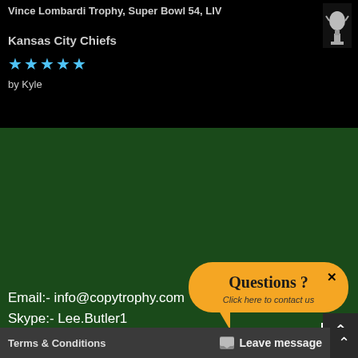Vince Lombardi Trophy, Super Bowl 54, LIV
Kansas City Chiefs
[Figure (other): Five blue star rating icons]
by Kyle
[Figure (photo): Trophy image thumbnail on black background]
Email:- info@copytrophy.com
Skype:- Lee.Butler1
Voice mail messages are responded to.
[Figure (other): Orange speech bubble chat widget with text 'Questions ? Click here to contact us' and an X close button]
Terms & Conditions
Leave message